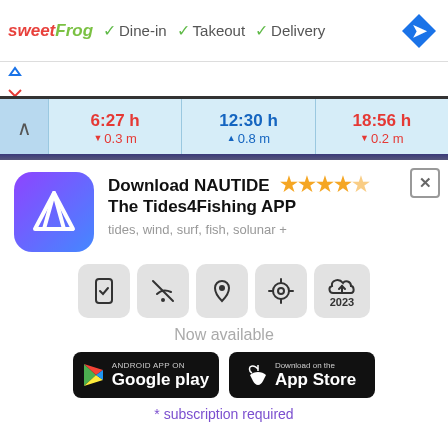[Figure (screenshot): Top ad bar showing sweetFrog logo with Dine-in, Takeout, Delivery options and navigation arrow icon]
[Figure (screenshot): Tide times bar showing 6:27h with 0.3m low, 12:30h with 0.8m high, 18:56h with 0.2m low]
[Figure (infographic): NAUTIDE app promotion panel with app icon, star rating, feature icons, Google Play and App Store download buttons, subscription note]